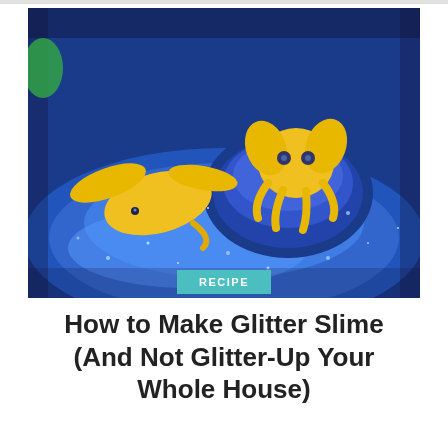[Figure (photo): Close-up photo of blue glitter slime with two yellow rubber sea animal toys (a manta ray/fish and an octopus) placed on and around the shimmery blue slime. The slime has sparkling glitter and is shaped in a bowl-like pool.]
RECIPE
How to Make Glitter Slime (And Not Glitter-Up Your Whole House)